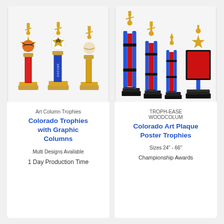[Figure (photo): Three sport trophies with colored art columns - basketball, soccer, and baseball themed with red, blue, and gold columns]
Art Column Trophies
Colorado Trophies with Graphic Columns
Multi Designs Available
1 Day Production Time
[Figure (photo): Four tall trophies with blue columns featuring art plaque inserts and gold figurines on top]
TROPH-EASE WOODCOLUM
Colorado Art Plaque Poster Trophies
Sizes 24" - 66"
Championship Awards